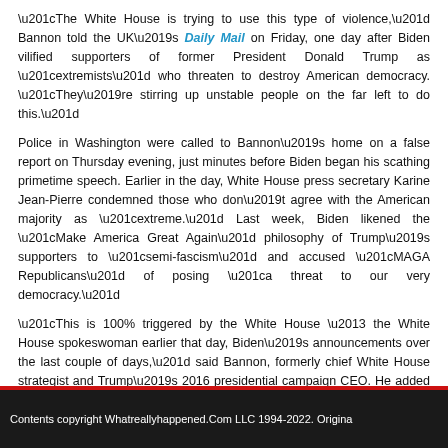“The White House is trying to use this type of violence,” Bannon told the UK’s Daily Mail on Friday, one day after Biden vilified supporters of former President Donald Trump as “extremists” who threaten to destroy American democracy. “They’re stirring up unstable people on the far left to do this.”
Police in Washington were called to Bannon’s home on a false report on Thursday evening, just minutes before Biden began his scathing primetime speech. Earlier in the day, White House press secretary Karine Jean-Pierre condemned those who don’t agree with the American majority as “extreme.” Last week, Biden likened the “Make America Great Again” philosophy of Trump’s supporters to “semi-fascism” and accused “MAGA Republicans” of posing “a threat to our very democracy.”
“This is 100% triggered by the White House – the White House spokeswoman earlier that day, Biden’s announcements over the last couple of days,” said Bannon, formerly chief White House strategist and Trump’s 2016 presidential campaign CEO. He added that the swatting calls
Contents copyright Whatreallyhappened.Com LLC 1994-2022. Origina